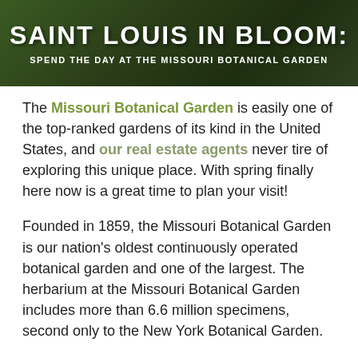[Figure (photo): Dark green garden/nature background with bold white text overlay reading 'SAINT LOUIS IN BLOOM:' and subtitle 'SPEND THE DAY AT THE MISSOURI BOTANICAL GARDEN']
The Missouri Botanical Garden is easily one of the top-ranked gardens of its kind in the United States, and our real estate agents never tire of exploring this unique place. With spring finally here now is a great time to plan your visit!
Founded in 1859, the Missouri Botanical Garden is our nation's oldest continuously operated botanical garden and one of the largest. The herbarium at the Missouri Botanical Garden includes more than 6.6 million specimens, second only to the New York Botanical Garden.
The Missouri Botanical Garden is conveniently located on Shaw Boulevard in St. Louis, so be sure to pay a visit while you're looking at St Louis homes for sale. These are some of the highlights of the garden: